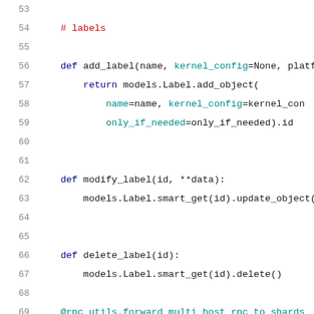53  (blank)
54      # labels
55  (blank)
56      def add_label(name, kernel_config=None, platfor
57          return models.Label.add_object(
58              name=name, kernel_config=kernel_con
59              only_if_needed=only_if_needed).id
60  (blank)
61  (blank)
62      def modify_label(id, **data):
63          models.Label.smart_get(id).update_object(da
64  (blank)
65  (blank)
66      def delete_label(id):
67          models.Label.smart_get(id).delete()
68  (blank)
69      @rpc_utils.forward_multi_host_rpc_to_shards
70      def label_add_hosts(id, hosts):
71          """Add the label with the given id to the l
72  (blank)
73          The given label will be created if it doesn
74  (truncated)